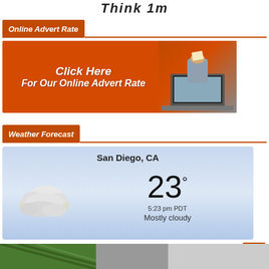Think 1m
Online Advert Rate
[Figure (illustration): Orange banner with white bold italic text 'Click Here For Our Online Advert Rate' and an image of a hand emerging from a laptop screen]
Weather Forecast
[Figure (infographic): Weather widget showing San Diego, CA with partly cloudy icon, temperature 23°, time 5:23 pm PDT, condition Mostly cloudy]
[Figure (illustration): Bottom strip with green and grey partial images]